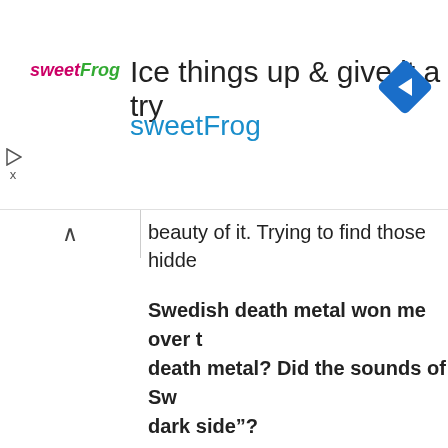[Figure (screenshot): sweetFrog advertisement banner with logo, headline 'Ice things up & give it a try', subtext 'sweetFrog', and a blue diamond navigation arrow icon]
beauty of it. Trying to find those hidde
Swedish death metal won me over t death metal? Did the sounds of Sw dark side”?
The thing is, when I wrote the previou for this book I’ve listened to ALL band As a result I’ve actually come to like a Soilwork, The Haunted, Storbhaus In